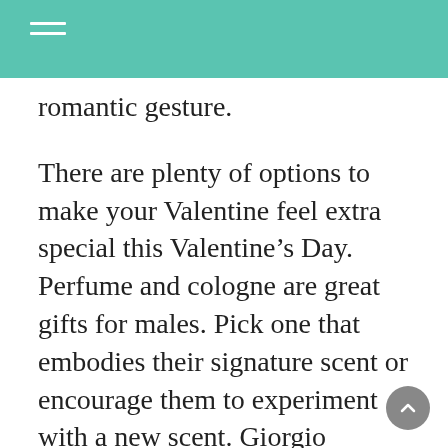romantic gesture.
There are plenty of options to make your Valentine feel extra special this Valentine’s Day. Perfume and cologne are great gifts for males. Pick one that embodies their signature scent or encourage them to experiment with a new scent. Giorgio Armani’s two-piece Acqua di Gio set retails at 138 dollars, or $98 dollars in Macy’s. The set comes with 3.4 ounce bottles of eau de toilette and one 3.4-ounce bottle of the cologne with aromas of rosemary and musk.